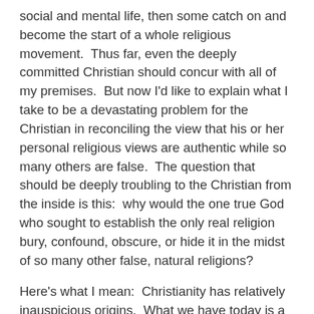social and mental life, then some catch on and become the start of a whole religious movement.  Thus far, even the deeply committed Christian should concur with all of my premises.  But now I'd like to explain what I take to be a devastating problem for the Christian in reconciling the view that his or her personal religious views are authentic while so many others are false.  The question that should be deeply troubling to the Christian from the inside is this:  why would the one true God who sought to establish the only real religion bury, confound, obscure, or hide it in the midst of so many other false, natural religions?
Here's what I mean:  Christianity has relatively inauspicious origins.  What we have today is a very small number of copies of  writings that were written decades and even centuries after Jesus is alleged to have preached, been executed, and the returned from the dead.  Two hundred years or so after the alleged events, the modern Bible was sifted from thousands of early writings that gave very different accounts of Jesus and Christian principles.  A very long and complicated  process with unreliable nodes of transmission provides us with claims of highly dubious